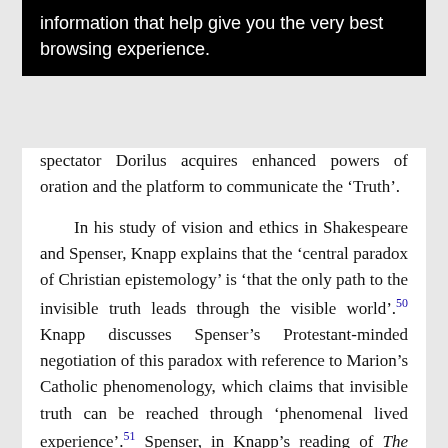information that help give you the very best browsing experience.
spectator Dorilus acquires enhanced powers of oration and the platform to communicate the ‘Truth’.
In his study of vision and ethics in Shakespeare and Spenser, Knapp explains that the ‘central paradox of Christian epistemology’ is ‘that the only path to the invisible truth leads through the visible world’.50 Knapp discusses Spenser’s Protestant-minded negotiation of this paradox with reference to Marion’s Catholic phenomenology, which claims that invisible truth can be reached through ‘phenomenal lived experience’.51 Spenser, in Knapp’s reading of The Shepheardes Calendar, ‘crosses the visible’ in ‘messianic’ passages which function in the same manner as